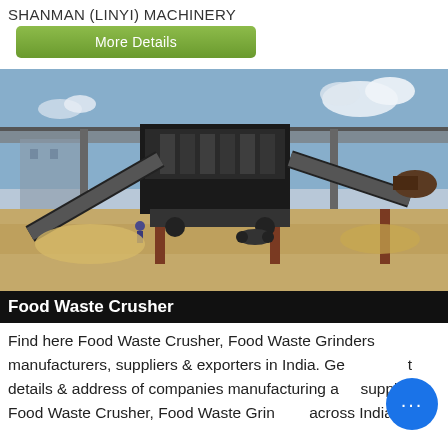SHANMAN (LINYI) MACHINERY
More Details
[Figure (photo): Heavy industrial mobile crushing/screening machinery on a construction site with a bridge overpass in the background, sandy ground, blue sky with clouds.]
Food Waste Crusher
Find here Food Waste Crusher, Food Waste Grinders manufacturers, suppliers & exporters in India. Get contact details & address of companies manufacturing and supplying Food Waste Crusher, Food Waste Grinders across India.